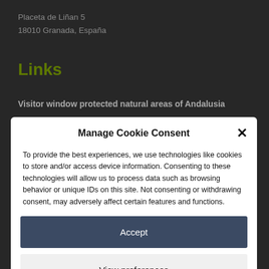Placeta de Liñan 5
18010 Granada, España
Links
Visitor window protected natural areas of Andalusia
Manage Cookie Consent
To provide the best experiences, we use technologies like cookies to store and/or access device information. Consenting to these technologies will allow us to process data such as browsing behavior or unique IDs on this site. Not consenting or withdrawing consent, may adversely affect certain features and functions.
Accept
View preferences
Cookie Policy   Legal information and privacy policy